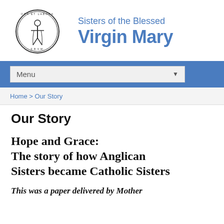[Figure (logo): Circular seal/medallion logo of Sisters of the Blessed Virgin Mary with a figure in the center]
Sisters of the Blessed Virgin Mary
Menu
Home > Our Story
Our Story
Hope and Grace: The story of how Anglican Sisters became Catholic Sisters
This was a paper delivered by Mother